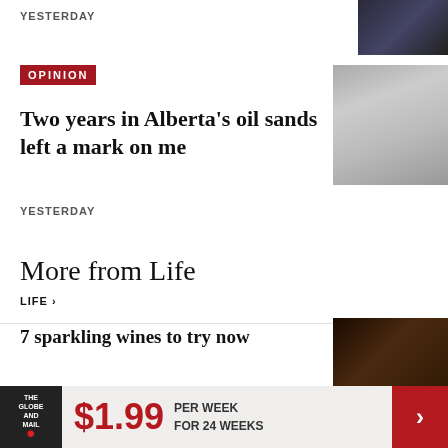YESTERDAY
[Figure (photo): News thumbnail showing crowd/audience scene]
OPINION
[Figure (photo): Photo showing oil sands landscape with large machinery and birds]
Two years in Alberta's oil sands left a mark on me
YESTERDAY
More from Life
LIFE >
7 sparkling wines to try now
[Figure (photo): Photo of sparkling wine being poured]
How to spruce up a less-than-ideal
[Figure (photo): Decorative items photo]
$1.99 PER WEEK FOR 24 WEEKS